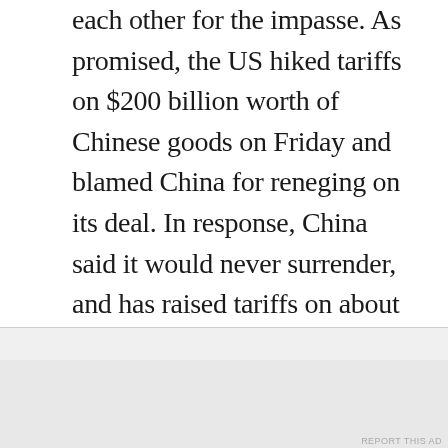each other for the impasse. As promised, the US hiked tariffs on $200 billion worth of Chinese goods on Friday and blamed China for reneging on its deal. In response, China said it would never surrender, and has raised tariffs on about $60 billion worth of US goods starting on June 1. FWIW, the issue with China is not so much tariff-related, it is intellectual property related.
This week is relatively data-light, at least as far
Advertisements